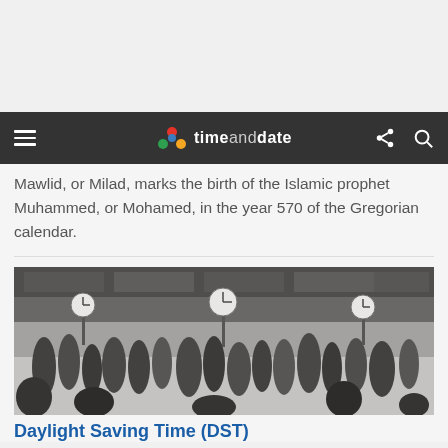timeanddate
Mawlid, or Milad, marks the birth of the Islamic prophet Muhammed, or Mohamed, in the year 570 of the Gregorian calendar.
[Figure (photo): Crowd of people walking in a large indoor or covered public space with multiple hanging clocks visible.]
Daylight Saving Time (DST)